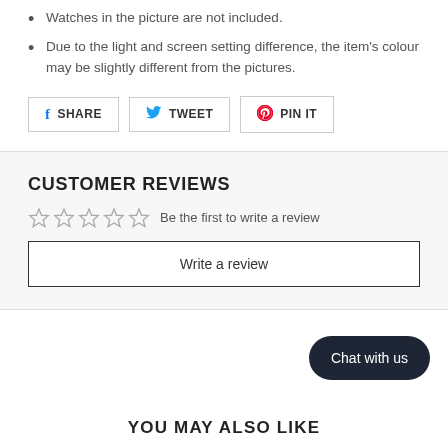Watches in the picture are not included.
Due to the light and screen setting difference, the item's colour may be slightly different from the pictures.
SHARE  TWEET  PIN IT
CUSTOMER REVIEWS
Be the first to write a review
Write a review
Chat with us
YOU MAY ALSO LIKE